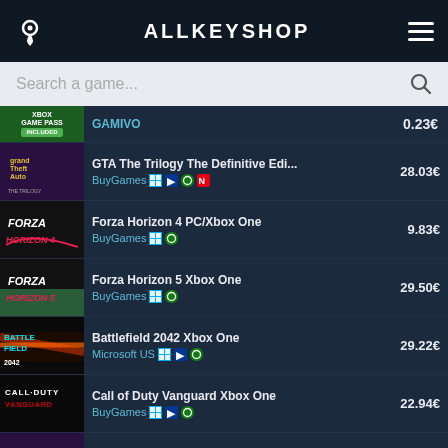ALLKEYSHOP
Search a game...
GAMIVO | 0.23€
GTA The Trilogy The Definitive Edi... | BuyGames | 28.03€
Forza Horizon 4 PC/Xbox One | BuyGames | 9.83€
Forza Horizon 5 Xbox One | BuyGames | 29.50€
Battlefield 2042 Xbox One | Microsoft US | 29.22€
Call of Duty Vanguard Xbox One | BuyGames | 22.94€
GTA The Trilogy The Definitive Edi... | BuyGames | 28.03€
Xbox Game Pass Console | Kinguin | €
Xbox Game Gold...